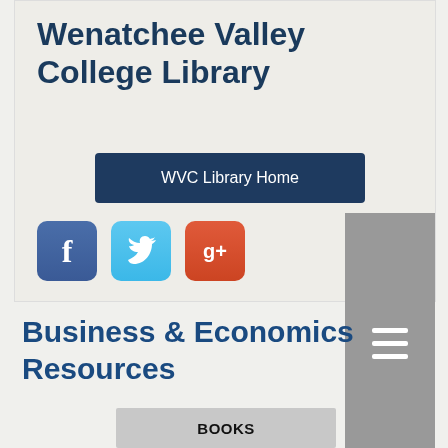Wenatchee Valley College Library
[Figure (screenshot): WVC Library Home navigation button]
[Figure (logo): Facebook social media icon button]
[Figure (logo): Twitter social media icon button]
[Figure (logo): Google+ social media icon button]
[Figure (other): Hamburger menu button with three white horizontal lines on grey background]
Business & Economics Resources
[Figure (other): BOOKS navigation tab button]